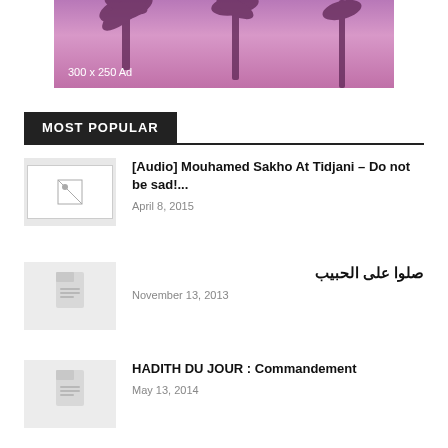[Figure (photo): Advertisement banner showing palm trees against a purple/pink sky with text '300 x 250 Ad']
MOST POPULAR
[Figure (photo): Broken image thumbnail for first article]
[Audio] Mouhamed Sakho At Tidjani – Do not be sad!...
April 8, 2015
[Figure (illustration): Gray placeholder thumbnail with document icon]
صلوا على الحبيب
November 13, 2013
[Figure (illustration): Gray placeholder thumbnail with document icon]
HADITH DU JOUR : Commandement
May 13, 2014